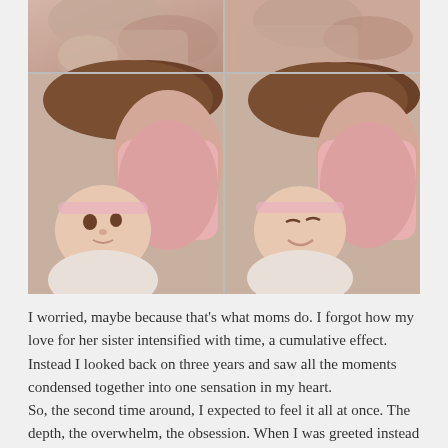[Figure (photo): A 2x2 grid of photos showing a young girl and a baby. Top row: two close-up shots of a woman/girl holding a baby. Bottom row: two photos of a girl with dark hair lying next to a newborn baby dressed in pink/white.]
I worried, maybe because that's what moms do. I forgot how my love for her sister intensified with time, a cumulative effect. Instead I looked back on three years and saw all the moments condensed together into one sensation in my heart.
So, the second time around, I expected to feel it all at once. The depth, the overwhelm, the obsession. When I was greeted instead with a familiar warmth, I thought maybe I